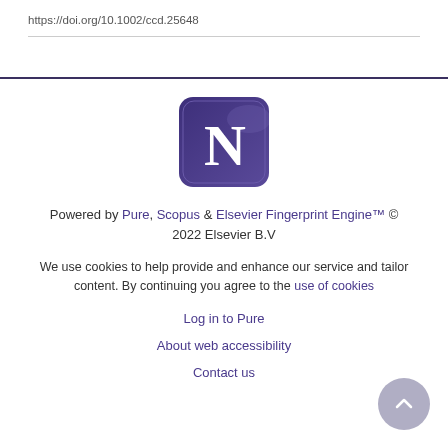https://doi.org/10.1002/ccd.25648
[Figure (logo): Northwestern University or Pure portal 'N' logo — white serif N on dark purple rounded-square background]
Powered by Pure, Scopus & Elsevier Fingerprint Engine™ © 2022 Elsevier B.V
We use cookies to help provide and enhance our service and tailor content. By continuing you agree to the use of cookies
Log in to Pure
About web accessibility
Contact us